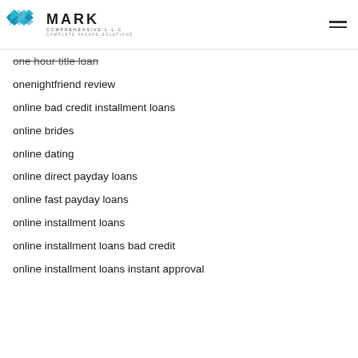MARK COMPREHENSIVE LLC — COMPLETE FACADE SOLUTIONS
one hour title loan
onenightfriend review
online bad credit installment loans
online brides
online dating
online direct payday loans
online fast payday loans
online installment loans
online installment loans bad credit
online installment loans instant approval